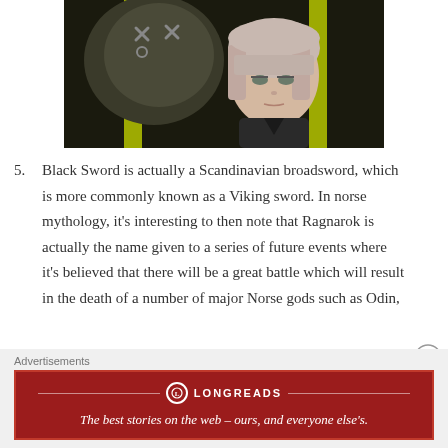[Figure (illustration): Anime screenshot showing a character with short light-colored hair and a dark outfit, alongside a dark creature with X-marked eyes, against a dark background with yellow-green accents.]
5. Black Sword is actually a Scandinavian broadsword, which is more commonly known as a Viking sword. In norse mythology, it’s interesting to then note that Ragnarok is actually the name given to a series of future events where it’s believed that there will be a great battle which will result in the death of a number of major Norse gods such as Odin,
Advertisements
[Figure (other): Longreads advertisement banner: red background with Longreads logo and tagline ‘The best stories on the web – ours, and everyone else’s.’]